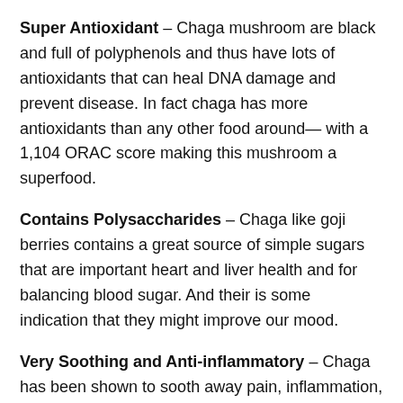Super Antioxidant – Chaga mushroom are black and full of polyphenols and thus have lots of antioxidants that can heal DNA damage and prevent disease. In fact chaga has more antioxidants than any other food around— with a 1,104 ORAC score making this mushroom a superfood.
Contains Polysaccharides – Chaga like goji berries contains a great source of simple sugars that are important heart and liver health and for balancing blood sugar. And their is some indication that they might improve our mood.
Very Soothing and Anti-inflammatory – Chaga has been shown to sooth away pain, inflammation, swelling, and helps with irritation of all kinds including arthritis… and it also helps with nerve pain.